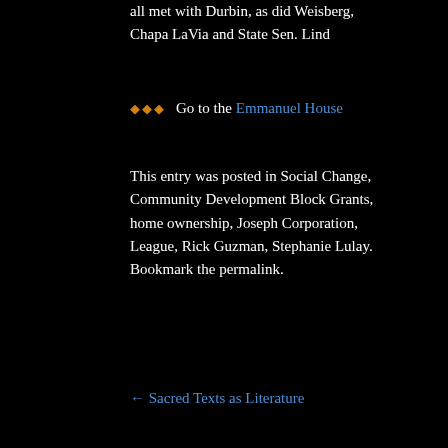all met with Durbin, as did Weisberg, Chapa LaVia and State Sen. Lind
♦♦♦  Go to the Emmanuel House
This entry was posted in Social Change, Community Development Block Grants, home ownership, Joseph Corporation, League, Rick Guzman, Stephanie Lulay. Bookmark the permalink.
← Sacred Texts as Literature
Leave a Reply
Your email address will not be pub
Comment